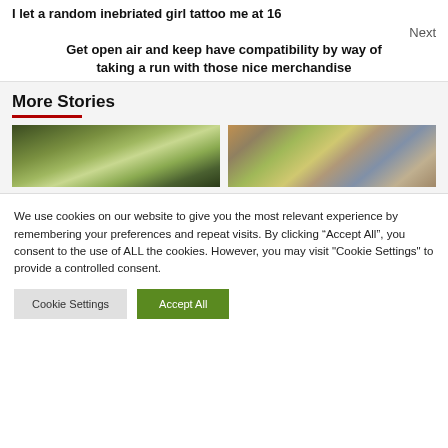I let a random inebriated girl tattoo me at 16
Next
Get open air and keep have compatibility by way of taking a run with those nice merchandise
More Stories
[Figure (photo): Photo of green plants/seedlings on dark soil]
[Figure (photo): Photo of a yellow-green leaf and blurred outdoor background]
We use cookies on our website to give you the most relevant experience by remembering your preferences and repeat visits. By clicking "Accept All", you consent to the use of ALL the cookies. However, you may visit "Cookie Settings" to provide a controlled consent.
Cookie Settings
Accept All